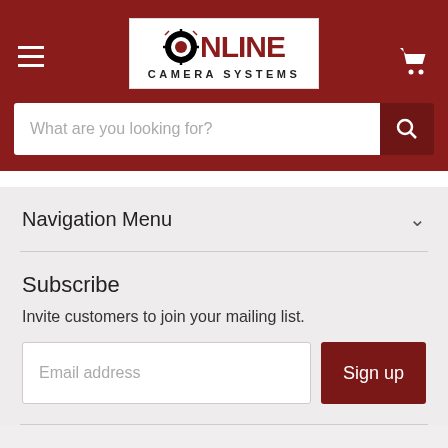[Figure (logo): Online Camera Systems logo with crosshair target O, bold red NLINE text, and CAMERA SYSTEMS subtitle]
What are you looking for?
Navigation Menu
Subscribe
Invite customers to join your mailing list.
Email address
Sign up